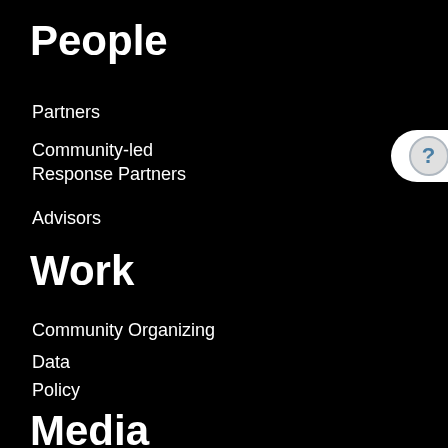People
Partners
Community-led Response Partners
Advisors
Work
Community Organizing
Data
Policy
Media
Campaign Updates